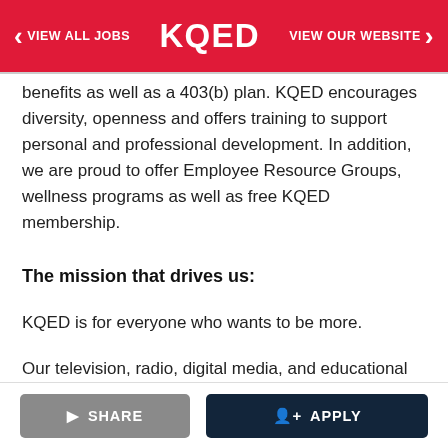< VIEW ALL JOBS   KQED   VIEW OUR WEBSITE >
benefits as well as a 403(b) plan. KQED encourages diversity, openness and offers training to support personal and professional development. In addition, we are proud to offer Employee Resource Groups, wellness programs as well as free KQED membership.
The mission that drives us:
KQED is for everyone who wants to be more.
Our television, radio, digital media, and educational services change lives for the better and help individuals and communities achieve their full potential.
KQED serves the people of Northern California with a